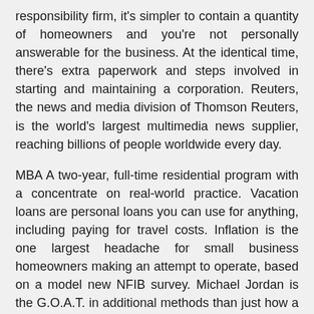responsibility firm, it's simpler to contain a quantity of homeowners and you're not personally answerable for the business. At the identical time, there's extra paperwork and steps involved in starting and maintaining a corporation. Reuters, the news and media division of Thomson Reuters, is the world's largest multimedia news supplier, reaching billions of people worldwide every day.
MBA A two-year, full-time residential program with a concentrate on real-world practice. Vacation loans are personal loans you can use for anything, including paying for travel costs. Inflation is the one largest headache for small business homeowners making an attempt to operate, based on a model new NFIB survey. Michael Jordan is the G.O.A.T. in additional methods than just how a lot he won on the basketball court, topping the listing of highest-paid athletes of all time by Sportico on Thursday. The war in Ukraine has had broad penalties for international transport and world provide chains.